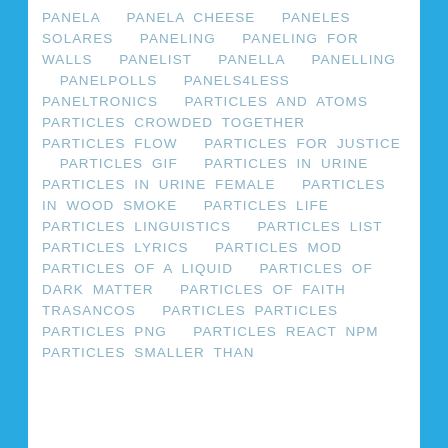PANELA  PANELA CHEESE  PANELES SOLARES  PANELING  PANELING FOR WALLS  PANELIST  PANELLA  PANELLING  PANELPOLLS  PANELS4LESS  PANELTRONICS  PARTICLES AND ATOMS  PARTICLES CROWDED TOGETHER  PARTICLES FLOW  PARTICLES FOR JUSTICE  PARTICLES GIF  PARTICLES IN URINE  PARTICLES IN URINE FEMALE  PARTICLES IN WOOD SMOKE  PARTICLES LIFE  PARTICLES LINGUISTICS  PARTICLES LIST  PARTICLES LYRICS  PARTICLES MOD  PARTICLES OF A LIQUID  PARTICLES OF DARK MATTER  PARTICLES OF FAITH TRASANCOS  PARTICLES PARTICLES  PARTICLES PNG  PARTICLES REACT NPM  PARTICLES SMALLER THAN